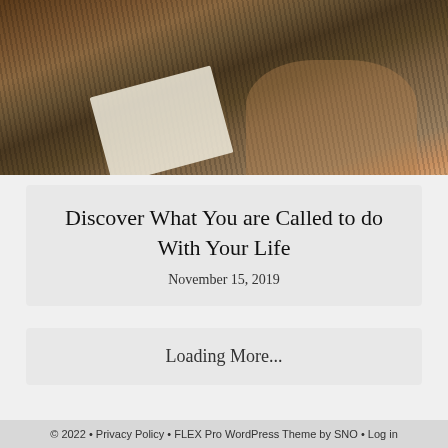[Figure (photo): A person in a striped shirt holding papers, standing in what appears to be an auditorium or meeting room with wooden furniture in the background.]
Discover What You are Called to do With Your Life
November 15, 2019
Loading More...
© 2022 • Privacy Policy • FLEX Pro WordPress Theme by SNO • Log in